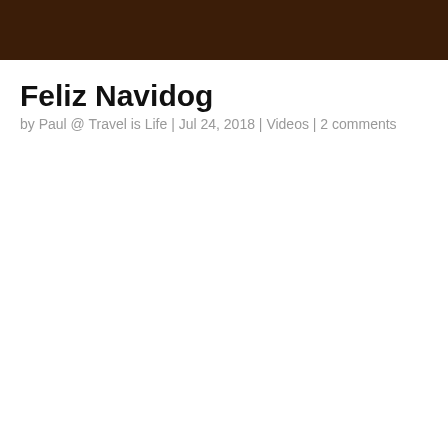Feliz Navidog
by Paul @ Travel is Life | Jul 24, 2018 | Videos | 2 comments